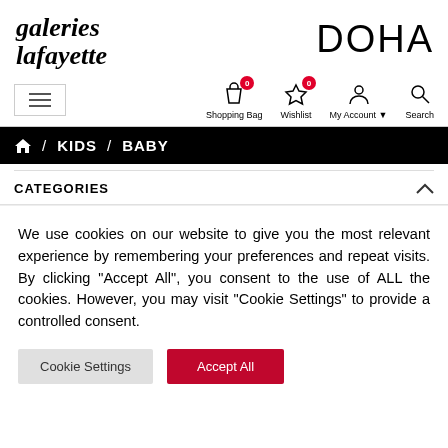[Figure (logo): Galeries Lafayette handwritten script logo on the left, DOHA text in large sans-serif on the right]
[Figure (screenshot): Navigation bar with hamburger menu, Shopping Bag (0), Wishlist (0), My Account, and Search icons]
/ KIDS / BABY
CATEGORIES
We use cookies on our website to give you the most relevant experience by remembering your preferences and repeat visits. By clicking “Accept All”, you consent to the use of ALL the cookies. However, you may visit "Cookie Settings" to provide a controlled consent.
Cookie Settings | Accept All